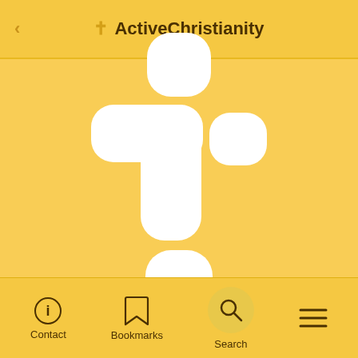ActiveChristianity
[Figure (logo): ActiveChristianity app logo: a white stylized cross/person icon on a golden yellow background, with rounded rectangular shapes forming a T/cross shape with a head circle above, an arm extending right, and a dot below]
Contact  Bookmarks  Search